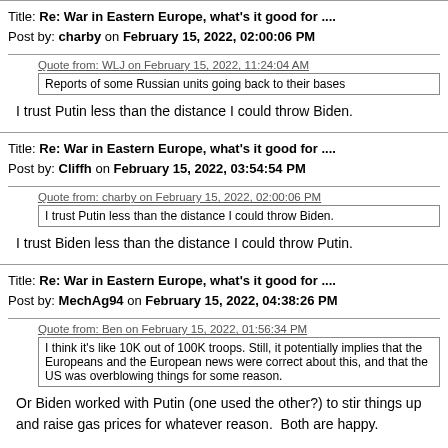Title: Re: War in Eastern Europe, what's it good for ....
Post by: charby on February 15, 2022, 02:00:06 PM
Quote from: WLJ on February 15, 2022, 11:24:04 AM
Reports of some Russian units going back to their bases
I trust Putin less than the distance I could throw Biden.
Title: Re: War in Eastern Europe, what's it good for ....
Post by: Cliffh on February 15, 2022, 03:54:54 PM
Quote from: charby on February 15, 2022, 02:00:06 PM
I trust Putin less than the distance I could throw Biden.
I trust Biden less than the distance I could throw Putin.
Title: Re: War in Eastern Europe, what's it good for ....
Post by: MechAg94 on February 15, 2022, 04:38:26 PM
Quote from: Ben on February 15, 2022, 01:56:34 PM
I think it's like 10K out of 100K troops. Still, it potentially implies that the Europeans and the European news were correct about this, and that the US was overblowing things for some reason.
Or Biden worked with Putin (one used the other?) to stir things up and raise gas prices for whatever reason.  Both are happy.